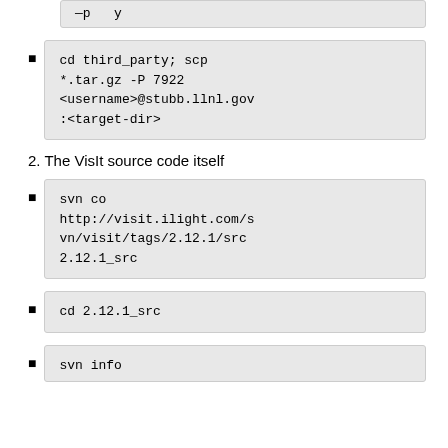cd third_party; scp *.tar.gz -P 7922 <username>@stubb.llnl.gov :<target-dir>
2. The VisIt source code itself
svn co http://visit.ilight.com/svn/visit/tags/2.12.1/src 2.12.1_src
cd 2.12.1_src
svn info